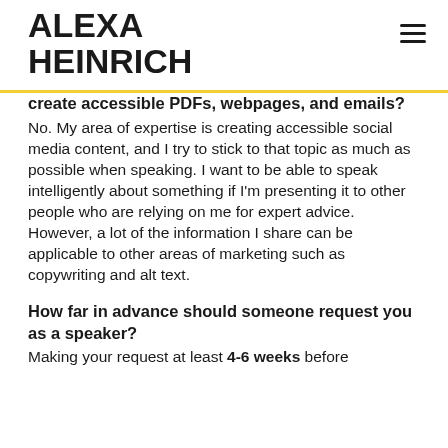ALEXA HEINRICH
create accessible PDFs, webpages, and emails?
No. My area of expertise is creating accessible social media content, and I try to stick to that topic as much as possible when speaking. I want to be able to speak intelligently about something if I'm presenting it to other people who are relying on me for expert advice. However, a lot of the information I share can be applicable to other areas of marketing such as copywriting and alt text.
How far in advance should someone request you as a speaker?
Making your request at least 4-6 weeks before